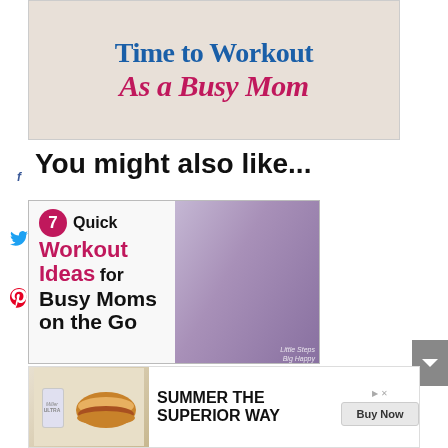[Figure (photo): Blog post header image with text 'Time to Workout As a Busy Mom' on a light wood floor background]
You might also like...
[Figure (photo): Article card image: 7 Quick Workout Ideas for Busy Moms on the Go, showing a woman in purple doing yoga while lifting a baby]
[Figure (photo): Advertisement banner: Summer The Superior Way with Miller Ultra beer and hamburger image and Buy Now button]